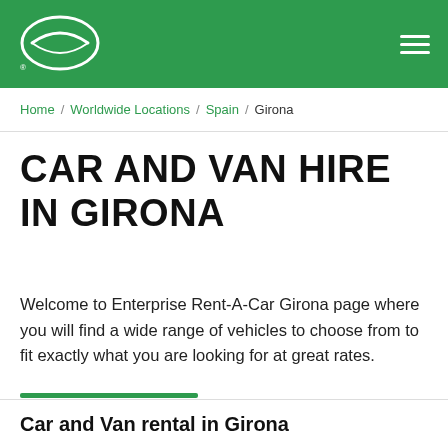Enterprise Rent-A-Car — Navigation header with logo and hamburger menu
Home / Worldwide Locations / Spain / Girona
CAR AND VAN HIRE IN GIRONA
Welcome to Enterprise Rent-A-Car Girona page where you will find a wide range of vehicles to choose from to fit exactly what you are looking for at great rates.
Car and Van rental in Girona